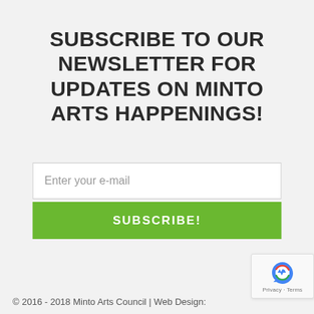SUBSCRIBE TO OUR NEWSLETTER FOR UPDATES ON MINTO ARTS HAPPENINGS!
Enter your e-mail
SUBSCRIBE!
© 2016 - 2018 Minto Arts Council | Web Design: